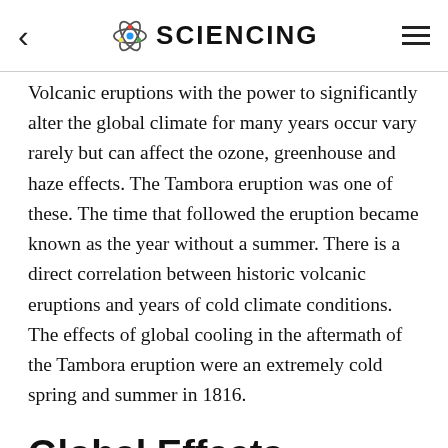< SCIENCING ≡
Volcanic eruptions with the power to significantly alter the global climate for many years occur vary rarely but can affect the ozone, greenhouse and haze effects. The Tambora eruption was one of these. The time that followed the eruption became known as the year without a summer. There is a direct correlation between historic volcanic eruptions and years of cold climate conditions. The effects of global cooling in the aftermath of the Tambora eruption were an extremely cold spring and summer in 1816.
Global Effects